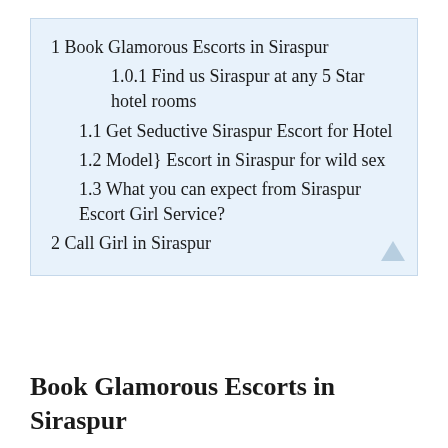1 Book Glamorous Escorts in Siraspur
1.0.1 Find us Siraspur at any 5 Star hotel rooms
1.1 Get Seductive Siraspur Escort for Hotel
1.2 Model} Escort in Siraspur for wild sex
1.3 What you can expect from Siraspur Escort Girl Service?
2 Call Girl in Siraspur
Book Glamorous Escorts in Siraspur